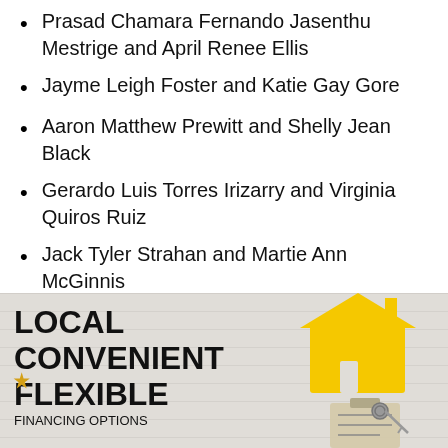Prasad Chamara Fernando Jasenthu Mestrige and April Renee Ellis
Jayme Leigh Foster and Katie Gay Gore
Aaron Matthew Prewitt and Shelly Jean Black
Gerardo Luis Torres Irizarry and Virginia Quiros Ruiz
Jack Tyler Strahan and Martie Ann McGinnis
Irineo Cruz Hernandez and Reyna Raquel Rosas
[Figure (illustration): Advertisement banner with bold text reading LOCAL CONVENIENT FLEXIBLE FINANCING OPTIONS with a yellow house icon, keys, and clipboard on a wood-plank textured background, and a star logo at the bottom.]